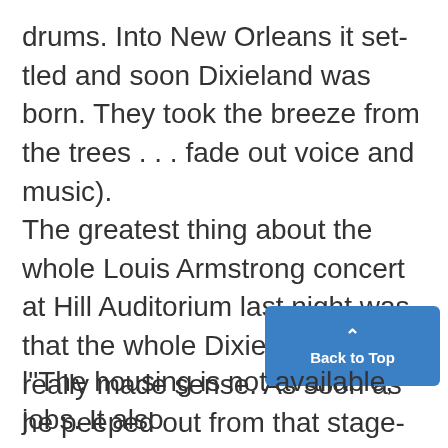drums. Into New Orleans it settled and soon Dixieland was born. They took the breeze from the trees . . . fade out voice and music).
The greatest thing about the whole Louis Armstrong concert at Hill Auditorium last night was that the whole Dixieland saga really made sense. As soon as he peeped out from that stage-right door and melted the audience with
[Figure (other): Blue 'Back to Top' button with upward caret arrow]
l"The housing is not available, jobs. It also